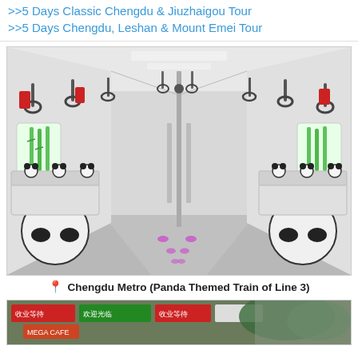>>5 Days Classic Chengdu & Jiuzhaigou Tour
>>5 Days Chengdu, Leshan & Mount Emei Tour
[Figure (photo): Interior of Chengdu Metro Panda Themed Train of Line 3, showing panda-decorated seats and bamboo artwork on walls]
Chengdu Metro (Panda Themed Train of Line 3)
[Figure (photo): Street scene in Chengdu with colorful signs in Chinese]